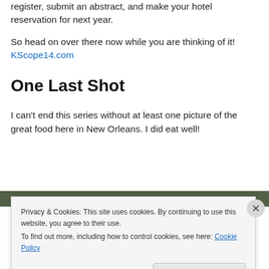register, submit an abstract, and make your hotel reservation for next year.
So head on over there now while you are thinking of it! KScope14.com
One Last Shot
I can't end this series without at least one picture of the great food here in New Orleans. I did eat well!
[Figure (photo): Dark green/brown strip visible at top of a food photo from New Orleans]
Privacy & Cookies: This site uses cookies. By continuing to use this website, you agree to their use. To find out more, including how to control cookies, see here: Cookie Policy